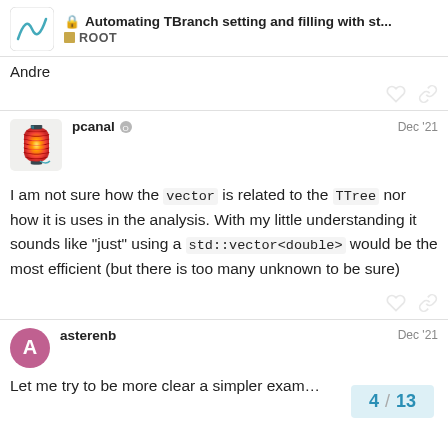Automating TBranch setting and filling with st... ROOT
Andre
pcanal  Dec '21
I am not sure how the vector is related to the TTree nor how it is uses in the analysis. With my little understanding it sounds like "just" using a std::vector<double> would be the most efficient (but there is too many unknown to be sure)
asterenb  Dec '21
Let me try to be more clear a simpler exam...
4 / 13